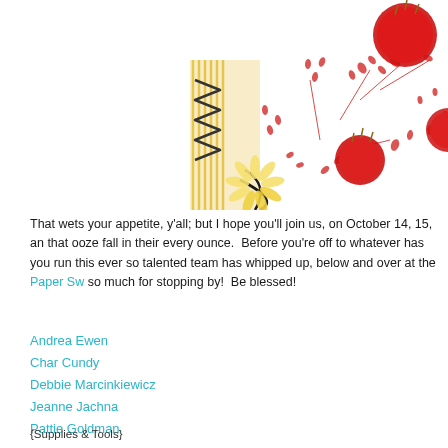[Figure (photo): Decorative photo showing red floral/candle arrangement with red botanical leaf pattern illustrations on white background, partial view]
That wets your appetite, y'all; but I hope you'll join us, on October 14, 15, an that ooze fall in their every ounce.  Before you're off to whatever has you run this ever so talented team has whipped up, below and over at the Paper Sw so much for stopping by!  Be blessed!
Andrea Ewen
Char Cundy
Debbie Marcinkiewicz
Jeanne Jachna
Pattie Goldman
{Supplies & Tools}